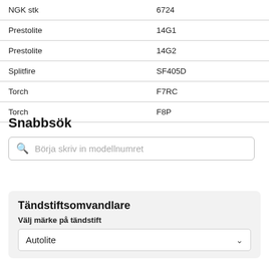| Brand | Model |
| --- | --- |
| NGK stk | 6724 |
| Prestolite | 14G1 |
| Prestolite | 14G2 |
| Splitfire | SF405D |
| Torch | F7RC |
| Torch | F8P |
Snabbsök
Börja skriv in modellnumret
Tändstiftsomvandlare
Välj märke på tändstift
Autolite